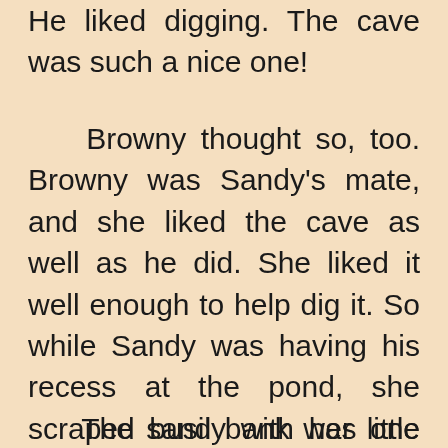He liked digging. The cave was such a nice one!
Browny thought so, too. Browny was Sandy's mate, and she liked the cave as well as he did. She liked it well enough to help dig it. So while Sandy was having his recess at the pond, she scraped busily with her little closed bill, and the cave in the sand bank grew deeper bit by bit.
The sand bank was one high